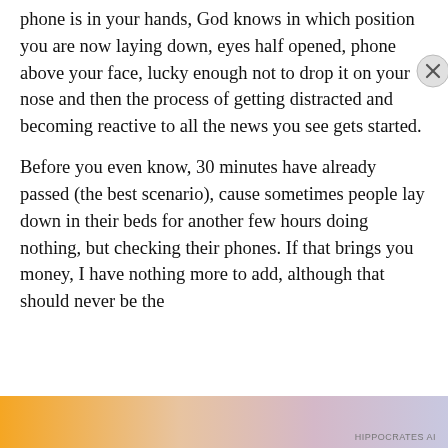phone is in your hands, God knows in which position you are now laying down, eyes half opened, phone above your face, lucky enough not to drop it on your nose and then the process of getting distracted and becoming reactive to all the news you see gets started.
Before you even know, 30 minutes have already passed (the best scenario), cause sometimes people lay down in their beds for another few hours doing nothing, but checking their phones. If that brings you money, I have nothing more to add, although that should never be the
Privacy & Cookies: This site uses cookies. By continuing to use this website, you agree to their use.
To find out more, including how to control cookies, see here: Cookie Policy